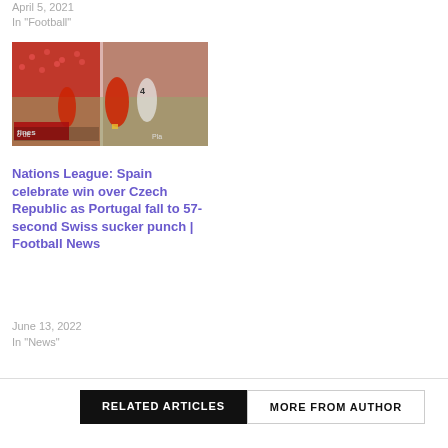April 5, 2021
In "Football"
[Figure (photo): Football match photo showing players from Spain and Czech Republic during a Nations League game]
Nations League: Spain celebrate win over Czech Republic as Portugal fall to 57-second Swiss sucker punch | Football News
June 13, 2022
In "News"
RELATED ARTICLES   MORE FROM AUTHOR